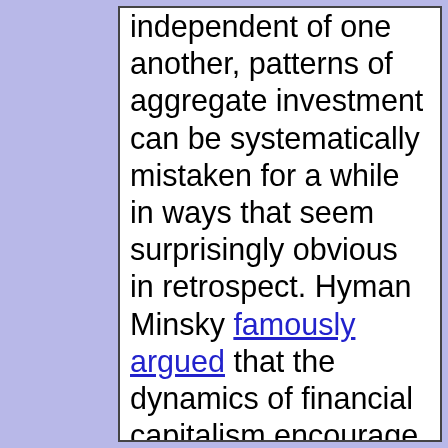independent of one another, patterns of aggregate investment can be systematically mistaken for a while in ways that seem surprisingly obvious in retrospect. Hyman Minsky famously argued that the dynamics of financial capitalism encourage and even require ever more fragile and optimistic means of finance, leading inexorably to crisis. Michael Mandel claims